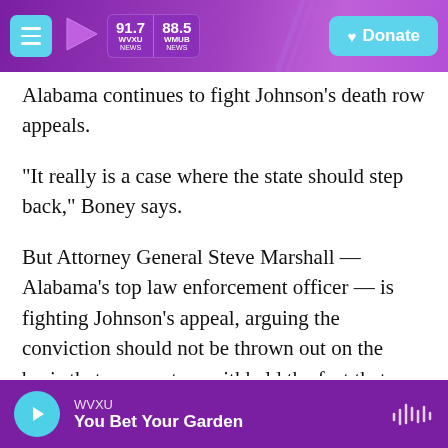WVXU 91.7 NEWS / 88.5 WMUB NEWS — Donate
Alabama continues to fight Johnson's death row appeals.
"It really is a case where the state should step back," Boney says.
But Attorney General Steve Marshall — Alabama's top law enforcement officer — is fighting Johnson's appeal, arguing the conviction should not be thrown out on the basis that prosecutors withheld the fact that reward money was paid to the sole witness in the case. Marshall declined to be interviewed for this story. A spokesman says the
WVXU — You Bet Your Garden